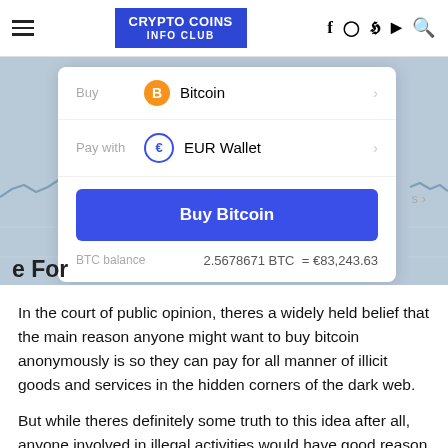CRYPTO COINS INFO CLUB
[Figure (screenshot): A cryptocurrency exchange UI screenshot showing a 'Buy Bitcoin' card with EUR Wallet payment option, a blue 'Buy Bitcoin' button, and a BTC balance of 2.5678671 BTC = €83,243.63, overlaid on a chart background.]
In the court of public opinion, theres a widely held belief that the main reason anyone might want to buy bitcoin anonymously is so they can pay for all manner of illicit goods and services in the hidden corners of the dark web.
But while theres definitely some truth to this idea after all, anyone involved in illegal activities would have good reason